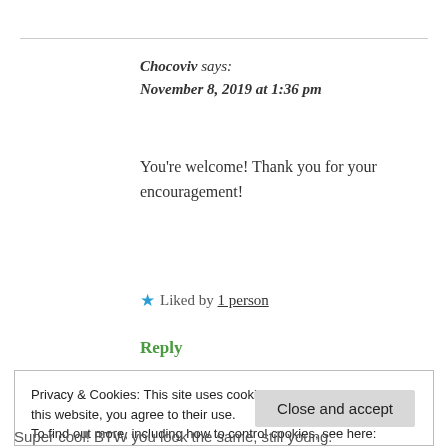Chocoviv says:
November 8, 2019 at 1:36 pm
You're welcome! Thank you for your encouragement!
★ Liked by 1 person
Reply
Privacy & Cookies: This site uses cookies. By continuing to use this website, you agree to their use.
To find out more, including how to control cookies, see here: Cookie Policy
Close and accept
Super cool! BTW you look the same, still young.